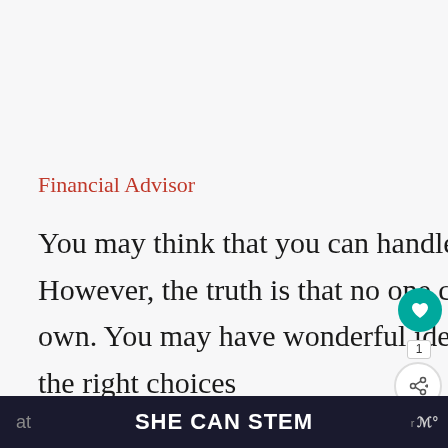Financial Advisor
You may think that you can handle every aspect of your business. However, the truth is that no one can run a successful business on their own. You may have wonderful ideas, but a financial can help you make the right choices at
SHE CAN STEM